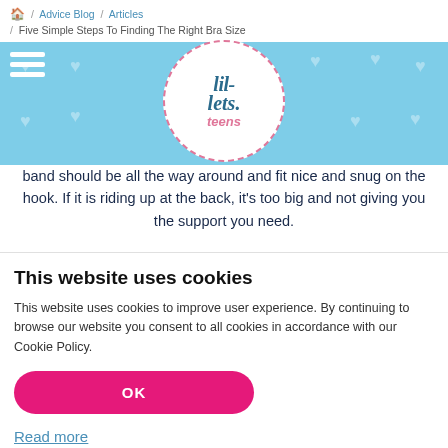🏠 / Advice Blog / Articles / Five Simple Steps To Finding The Right Bra Size
[Figure (logo): Lil-Lets teens logo in white circle with pink dashed border on light blue background with heart pattern]
band should be all the way around and fit nice and snug on the hook. If it is riding up at the back, it's too big and not giving you the support you need.
A) Too big around the back
[Figure (photo): Photo of person's back showing bra strap that is too big and riding up]
This website uses cookies
This website uses cookies to improve user experience. By continuing to browse our website you consent to all cookies in accordance with our Cookie Policy.
OK
Read more